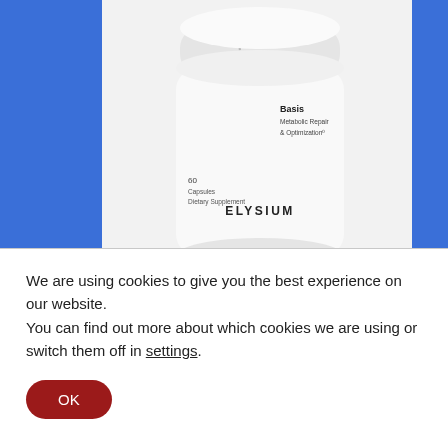[Figure (photo): Elysium Basis supplement bottle open with capsules visible, white background with blue side bars. Bottle labeled 'Basis Metabolic Repair & Optimization 60 Capsules Dietary Supplement ELYSIUM']
The one daily supplement your cells need.
Cells need the coenzyme NAD+ to function, and NAD+ declines as we age. Basis is clinically proven to increase NAD+ levels.
We are using cookies to give you the best experience on our website.
You can find out more about which cookies we are using or switch them off in settings.